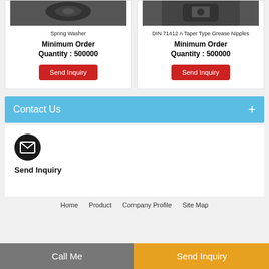Spring Washer
Minimum Order Quantity : 500000
Send Inquiry
DIN 71412 A Taper Type Grease Nipples
Minimum Order Quantity : 500000
Send Inquiry
Contact Us
[Figure (illustration): Mail envelope icon in black circle]
Send Inquiry
Home   Product   Company Profile   Site Map
Call Me
Send Inquiry